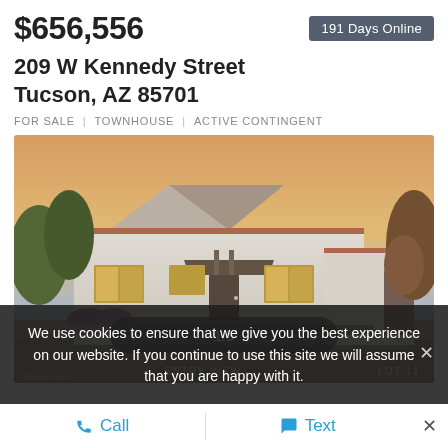$656,556
191 Days Online
209 W Kennedy Street
Tucson, AZ  85701
FOR SALE  |  TOWNHOUSE  |  ACTIVE CONTINGENT
[Figure (photo): Exterior photo of a white stucco townhouse with a gabled roof and warm-lit windows at dusk, showing entry view and labeled Lot 11. Photo navigation shows 1/5.]
We use cookies to ensure that we give you the best experience on our website. If you continue to use this site we will assume that you are happy with it.
Call
Text